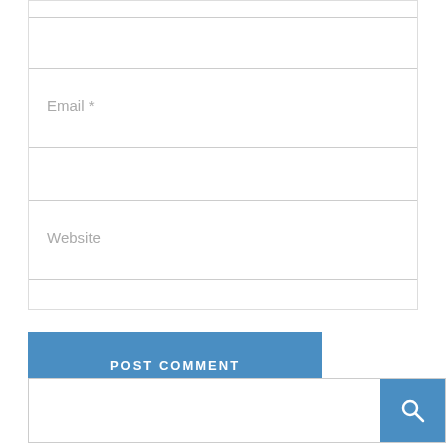[Figure (screenshot): Email input field with placeholder text 'Email *' and a light gray border]
[Figure (screenshot): Website input field with placeholder text 'Website' and a light gray border]
[Figure (screenshot): Blue 'POST COMMENT' button]
[Figure (screenshot): Search bar with a blue search button containing a magnifying glass icon on the right]